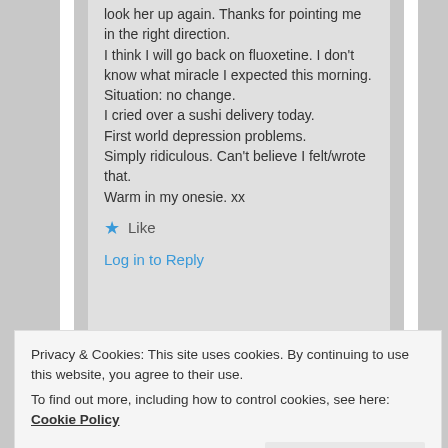look her up again. Thanks for pointing me in the right direction.
I think I will go back on fluoxetine. I don't know what miracle I expected this morning. Situation: no change.
I cried over a sushi delivery today.
First world depression problems.
Simply ridiculous. Can't believe I felt/wrote that.
Warm in my onesie. xx
★ Like
Log in to Reply
Privacy & Cookies: This site uses cookies. By continuing to use this website, you agree to their use.
To find out more, including how to control cookies, see here: Cookie Policy
Close and accept
onesie. Small things can be huge.